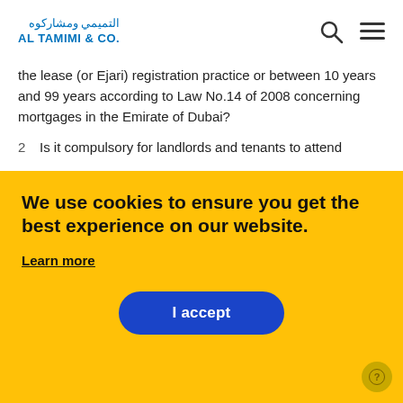Al Tamimi & Co. - Law Firm
the lease (or Ejari) registration practice or between 10 years and 99 years according to Law No.14 of 2008 concerning mortgages in the Emirate of Dubai?
2. Is it compulsory for landlords and tenants to attend
We use cookies to ensure you get the best experience on our website.
Learn more
I accept